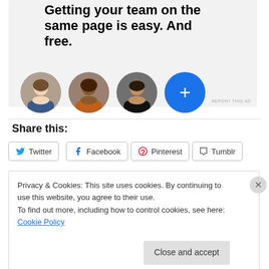[Figure (illustration): Advertisement banner with bold text 'Getting your team on the same page is easy. And free.' on a light grey background, with four circular avatar icons below (three profile photos and one blue plus button).]
REPORT THIS AD
Share this:
Twitter
Facebook
Pinterest
Tumblr
Pocket
Privacy & Cookies: This site uses cookies. By continuing to use this website, you agree to their use.
To find out more, including how to control cookies, see here: Cookie Policy
Close and accept